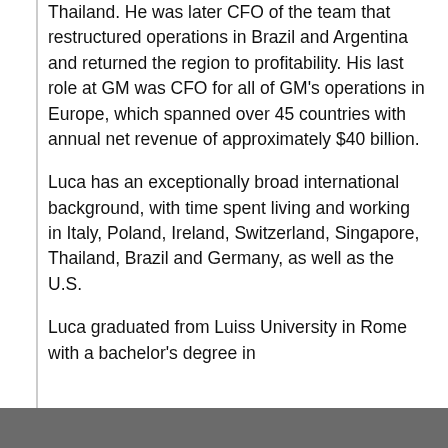Thailand. He was later CFO of the team that restructured operations in Brazil and Argentina and returned the region to profitability. His last role at GM was CFO for all of GM's operations in Europe, which spanned over 45 countries with annual net revenue of approximately $40 billion.
Luca has an exceptionally broad international background, with time spent living and working in Italy, Poland, Ireland, Switzerland, Singapore, Thailand, Brazil and Germany, as well as the U.S.
Luca graduated from Luiss University in Rome with a bachelor's degree in